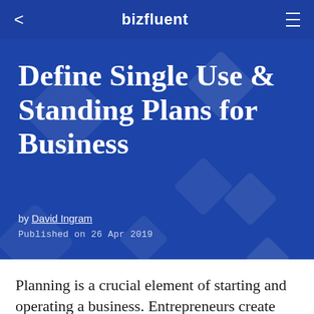bizfluent
Define Single Use & Standing Plans for Business
by David Ingram
Published on 26 Apr 2019
Planning is a crucial element of starting and operating a business. Entrepreneurs create